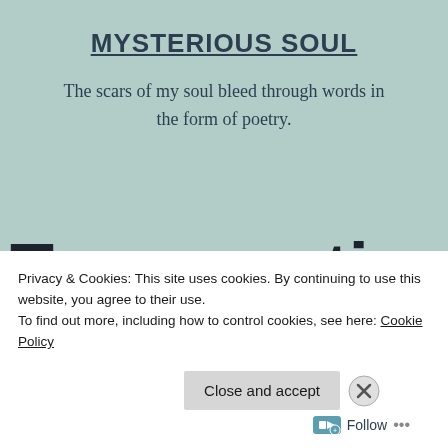MYSTERIOUS SOUL
The scars of my soul bleed through words in the form of poetry.
Tag: emotions
Privacy & Cookies: This site uses cookies. By continuing to use this website, you agree to their use.
To find out more, including how to control cookies, see here: Cookie Policy